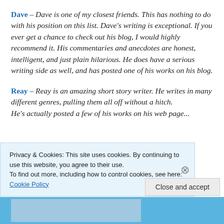Dave – Dave is one of my closest friends. This has nothing to do with his position on this list. Dave's writing is exceptional. If you ever get a chance to check out his blog, I would highly recommend it. His commentaries and anecdotes are honest, intelligent, and just plain hilarious. He does have a serious writing side as well, and has posted one of his works on his blog.
Reay – Reay is an amazing short story writer. He writes in many different genres, pulling them all off without a hitch. He's actually posted a few of his works on his web page...
Privacy & Cookies: This site uses cookies. By continuing to use this website, you agree to their use. To find out more, including how to control cookies, see here: Cookie Policy
Close and accept